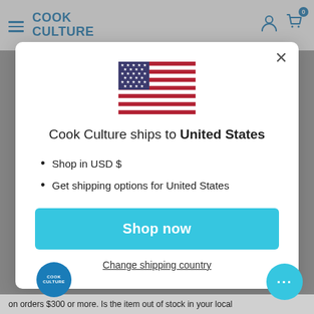COOK CULTURE
[Figure (screenshot): US flag SVG illustration]
Cook Culture ships to United States
Shop in USD $
Get shipping options for United States
Shop now
Change shipping country
on orders $300 or more. Is the item out of stock in your local